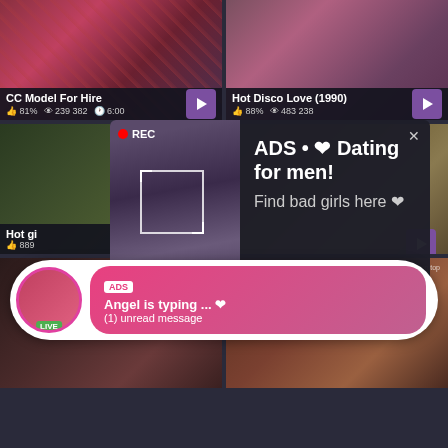[Figure (screenshot): Video thumbnail top left - CC Model For Hire]
CC Model For Hire
👍 81%  👁 239 382  🕐 6:00
[Figure (screenshot): Video thumbnail top right - Hot Disco Love (1990)]
Hot Disco Love (1990)
👍 88%  👁 483 238
[Figure (screenshot): Video thumbnail middle left - Hot gi... 889]
Hot gi
889
[Figure (screenshot): Video thumbnail middle right]
[Figure (screenshot): Video thumbnail bottom left and right]
www.xxx-porn.top
[Figure (infographic): Popup ad overlay with photo and text: ADS • ❤ Dating for men! Find bad girls here ❤]
ADS • ❤ Dating for men!
Find bad girls here ❤
[Figure (infographic): Bottom notification bubble: ADS - Angel is typing ... ❤ (1) unread message, with LIVE badge avatar]